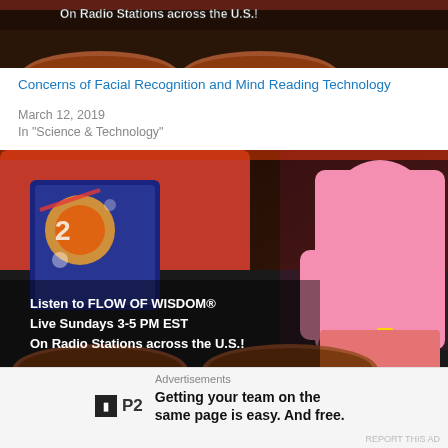[Figure (photo): Top cropped photo showing wooden bowl-like objects and a red couch, with text overlay 'On Radio Stations across the U.S.!']
Concerns of Facial Recognition and Mind Reading Technology
March 12, 2019
In "Science & Technology"
[Figure (photo): Photo of a man in a pink shirt sitting on a dark couch with a decorative pillow, wooden bowls in foreground. Text overlay reads: 'Listen to FLOW OF WISDOM® Live Sundays 3-5 PM EST On Radio Stations across the U.S.!']
Invasion of Mental Privacy plus Targeted Individual shares all
Advertisements
[Figure (logo): P2 logo — black square with 'P' letter and 'P2' text]
Getting your team on the same page is easy. And free.